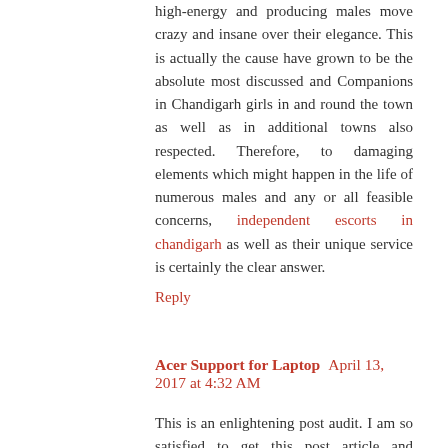high-energy and producing males move crazy and insane over their elegance. This is actually the cause have grown to be the absolute most discussed and Companions in Chandigarh girls in and round the town as well as in additional towns also respected. Therefore, to damaging elements which might happen in the life of numerous males and any or all feasible concerns, independent escorts in chandigarh as well as their unique service is certainly the clear answer.
Reply
Acer Support for Laptop  April 13, 2017 at 4:32 AM
This is an enlightening post audit. I am so satisfied to get this post article and pleasant data. I was anticipating get such a post which is exceptionally useful to us.
Acer Laptop support Number
Reply
Hmm...  April 13, 2017 at 1:32 AM